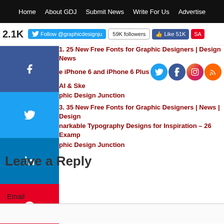Home | About GDJ | Submit News | Write For Us | Advertise
2.1K Shares — Follow @graphicdesignju | 59K followers | Like 51K | SA
1. 25 New Free Fonts for Graphic Designers | Design News
e iPhone 6 and iPhone 6 Plus [social icons] AI & Ske
ohic Design Junction
3. 35 New Free Fonts for Graphic Designers | News | Design
narkable Typography Designs for Inspiration – 26 Examp
ohic Design Junction
Leave a Reply
Email